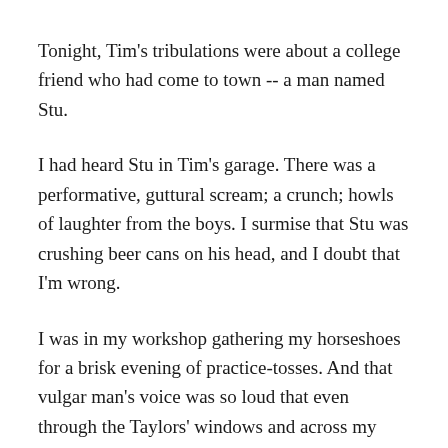Tonight, Tim's tribulations were about a college friend who had come to town -- a man named Stu.
I had heard Stu in Tim's garage. There was a performative, guttural scream; a crunch; howls of laughter from the boys. I surmise that Stu was crushing beer cans on his head, and I doubt that I'm wrong.
I was in my workshop gathering my horseshoes for a brisk evening of practice-tosses. And that vulgar man's voice was so loud that even through the Taylors' windows and across my backyard, I heard Stu call that he was heading out to get more beer.